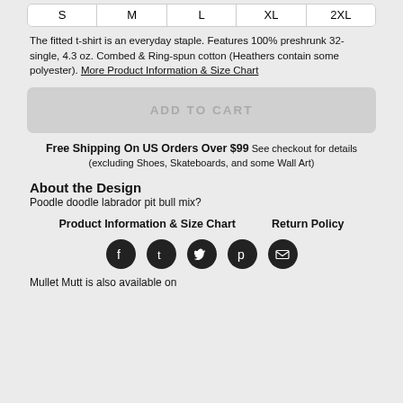| S | M | L | XL | 2XL |
| --- | --- | --- | --- | --- |
The fitted t-shirt is an everyday staple. Features 100% preshrunk 32-single, 4.3 oz. Combed & Ring-spun cotton (Heathers contain some polyester). More Product Information & Size Chart
ADD TO CART
Free Shipping On US Orders Over $99 See checkout for details (excluding Shoes, Skateboards, and some Wall Art)
About the Design
Poodle doodle labrador pit bull mix?
Product Information & Size Chart    Return Policy
[Figure (other): Social media share icons: Facebook, Tumblr, Twitter, Pinterest, Email]
Mullet Mutt is also available on